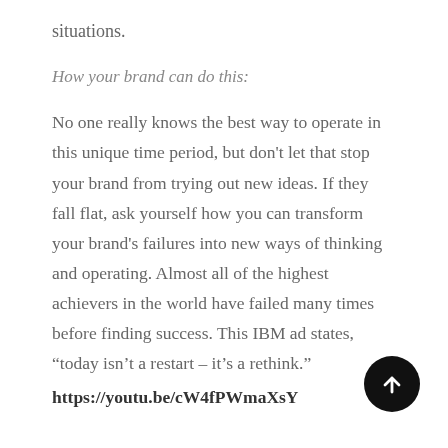situations.
How your brand can do this:
No one really knows the best way to operate in this unique time period, but don't let that stop your brand from trying out new ideas. If they fall flat, ask yourself how you can transform your brand's failures into new ways of thinking and operating. Almost all of the highest achievers in the world have failed many times before finding success. This IBM ad states, “today isn’t a restart – it’s a rethink.”
https://youtu.be/cW4fPWmaXsY